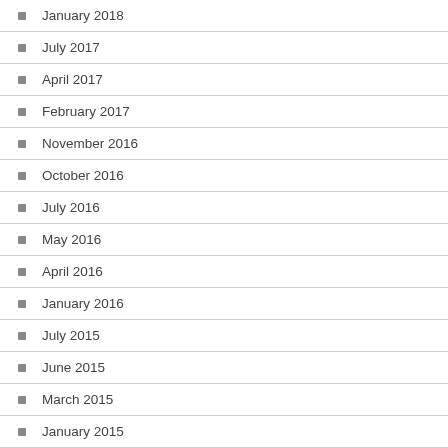January 2018
July 2017
April 2017
February 2017
November 2016
October 2016
July 2016
May 2016
April 2016
January 2016
July 2015
June 2015
March 2015
January 2015
December 2014